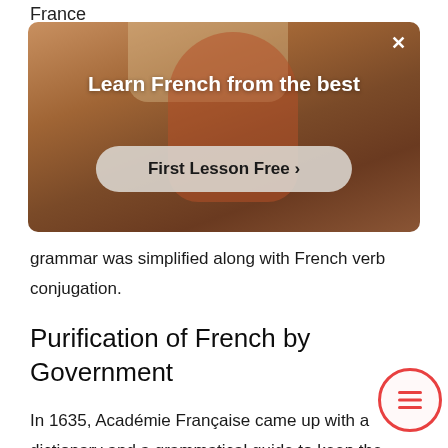France
[Figure (photo): Advertisement overlay showing a person in a room with warm lighting. Text reads 'Learn French from the best' with a 'First Lesson Free >' button. A close (×) button is in the top right corner.]
grammar was simplified along with French verb conjugation.
Purification of French by Government
In 1635, Académie Française came up with a dictionary and a grammatical guide to keep the